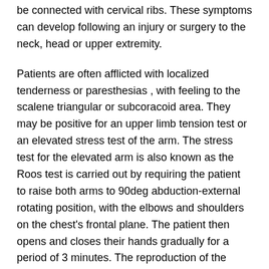be connected with cervical ribs. These symptoms can develop following an injury or surgery to the neck, head or upper extremity.
Patients are often afflicted with localized tenderness or paresthesias , with feeling to the scalene triangular or subcoracoid area. They may be positive for an upper limb tension test or an elevated stress test of the arm. The stress test for the elevated arm is also known as the Roos test is carried out by requiring the patient to raise both arms to 90deg abduction-external rotating position, with the elbows and shoulders on the chest's frontal plane. The patient then opens and closes their hands gradually for a period of 3 minutes. The reproduction of the patient's typical symptoms throughout the entire extremity is an affirmative test.
A possible neurogenic workup for TOS